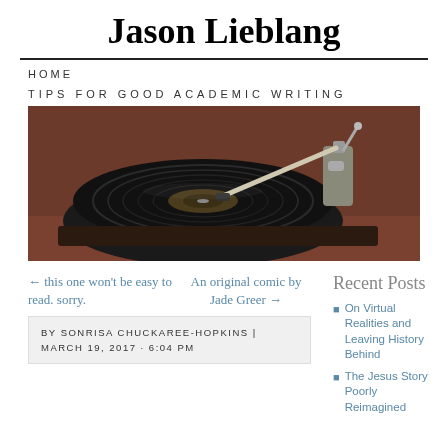Jason Lieblang
HOME
TIPS FOR GOOD ACADEMIC WRITING
[Figure (photo): Close-up photo of a vinyl record player with tonearm resting on a spinning record, warm brown tones in the background]
← this one won't be easy to read. sorry.
An original comic by Jade Greer →
BY SONRISA CHUCKAREE-HOPKINS | MARCH 19, 2017 · 6:04 PM
Recent Posts
On Virtual Realities and Leaving History Behind
The Jesus Story Poorly Reimagined